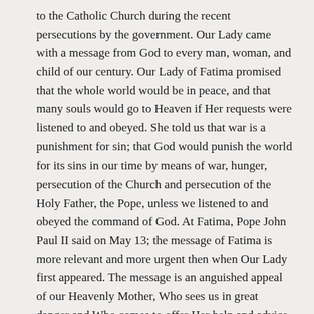to the Catholic Church during the recent persecutions by the government. Our Lady came with a message from God to every man, woman, and child of our century. Our Lady of Fatima promised that the whole world would be in peace, and that many souls would go to Heaven if Her requests were listened to and obeyed. She told us that war is a punishment for sin; that God would punish the world for its sins in our time by means of war, hunger, persecution of the Church and persecution of the Holy Father, the Pope, unless we listened to and obeyed the command of God. At Fatima, Pope John Paul II said on May 13; the message of Fatima is more relevant and more urgent then when Our Lady first appeared. The message is an anguished appeal of our Heavenly Mother, Who sees us in great danger and Who comes to offer Her help and advice. Her message is also a prophesy, a clear indication of what was about to transpire in the 20th century, and what is still going to happen infallibly in the near future, depending on our response to Her requests.